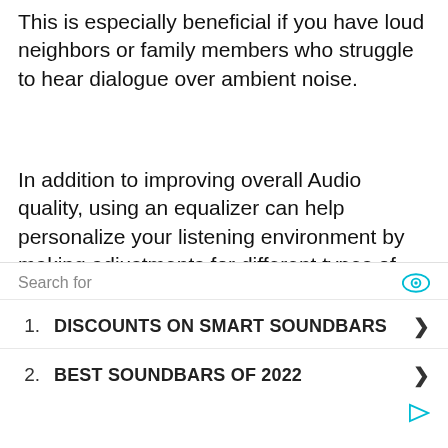This is especially beneficial if you have loud neighbors or family members who struggle to hear dialogue over ambient noise.
In addition to improving overall Audio quality, using an equalizer can help personalize your listening environment by making adjustments for different types of content (i.e., Movies vs Music).
So whether you’re looking to tweak the sound fidelity of your existing Samsung Sound Bar or are just starting and want to fine-tune the listening experience for all kinds of entertainment material – Equalization should
Search for
1. DISCOUNTS ON SMART SOUNDBARS
2. BEST SOUNDBARS OF 2022